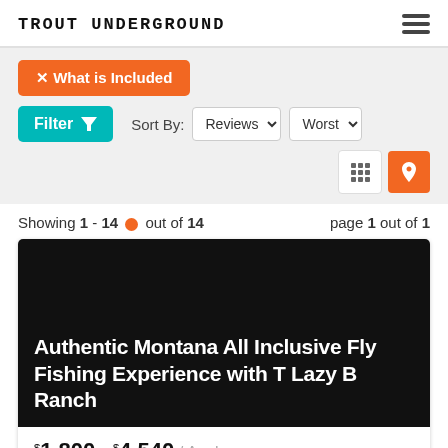TROUT UNDERGROUND
✕ What is Included
Filter ▼   Sort By: Reviews ▼   Worst ▼
Showing 1 - 14 • out of 14   page 1 out of 1
[Figure (screenshot): Black background listing card image for Authentic Montana All Inclusive Fly Fishing Experience with T Lazy B Ranch]
Authentic Montana All Inclusive Fly Fishing Experience with T Lazy B Ranch
$1,800 – $4,540 / Angler